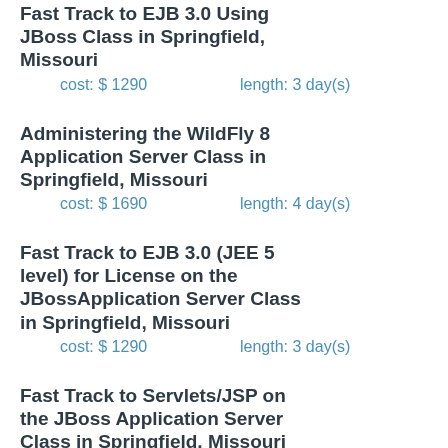Fast Track to EJB 3.0 Using JBoss Class in Springfield, Missouri
cost: $ 1290    length: 3 day(s)
Administering the WildFly 8 Application Server Class in Springfield, Missouri
cost: $ 1690    length: 4 day(s)
Fast Track to EJB 3.0 (JEE 5 level) for License on the JBossApplication Server Class in Springfield, Missouri
cost: $ 1290    length: 3 day(s)
Fast Track to Servlets/JSP on the JBoss Application Server Class in Springfield, Missouri
cost: $ 1290    length: 3 day(s)